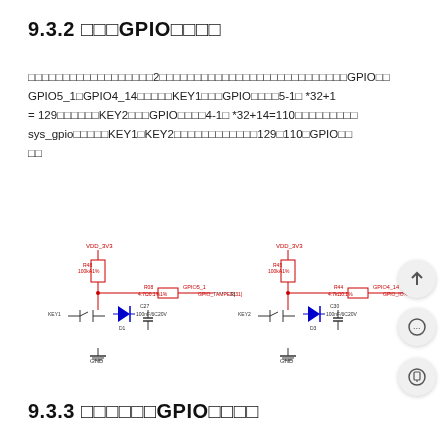9.3.2 □□□GPIO□□□□
□□□□□□□□□□□□□□□□□□2□□□□□□□□□□□□□□□□□□□□□□□□□□□□GPIO□□ GPIO5_1□GPIO4_14□□□□□KEY1□□□GPIO□□□□5-1□ *32+1 = 129□□□□□□KEY2□□□GPIO□□□□4-1□ *32+14=110□□□□□□□□□□ sys_gpio□□□□□KEY1□KEY2□□□□□□□□□□□□□129□110□GPIO□□□□
[Figure (schematic): Two electronic circuit schematics side by side. Left schematic shows KEY1 button circuit with VDD_3V3 power supply, pull-up resistor, GPIO5_1 signal line labeled GPIO_TAMPER[31], diode, decoupling capacitor, and GND. Right schematic shows KEY2 button circuit with VDD_3V3 power supply, pull-up resistor, GPIO4_14 signal line labeled GPIO_IO:4, diode, decoupling capacitor, and GND.]
9.3.3 □□□□□□GPIO□□□□